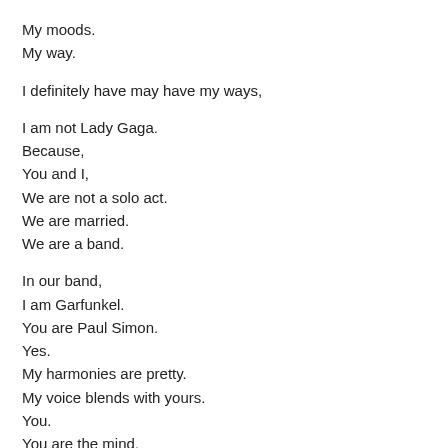My moods.
My way.
I definitely have may have my ways,
I am not Lady Gaga.
Because,
You and I,
We are not a solo act.
We are married.
We are a band.
In our band,
I am Garfunkel.
You are Paul Simon.
Yes.
My harmonies are pretty.
My voice blends with yours.
You.
You are the mind.